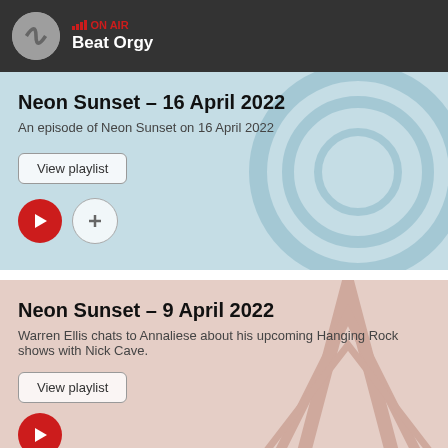ON AIR — Beat Orgy
Neon Sunset – 16 April 2022
An episode of Neon Sunset on 16 April 2022
View playlist
Neon Sunset – 9 April 2022
Warren Ellis chats to Annaliese about his upcoming Hanging Rock shows with Nick Cave.
View playlist